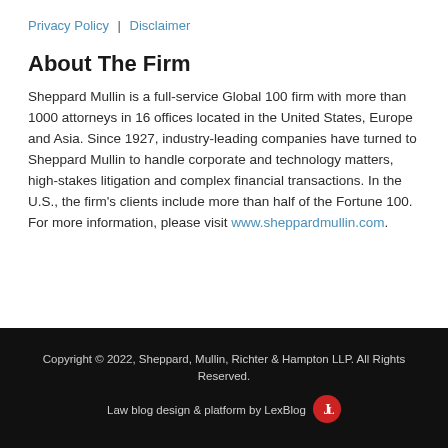Privacy Policy | Disclaimer
About The Firm
Sheppard Mullin is a full-service Global 100 firm with more than 1000 attorneys in 16 offices located in the United States, Europe and Asia. Since 1927, industry-leading companies have turned to Sheppard Mullin to handle corporate and technology matters, high-stakes litigation and complex financial transactions. In the U.S., the firm's clients include more than half of the Fortune 100. For more information, please visit www.sheppardmullin.com.
Copyright © 2022, Sheppard, Mullin, Richter & Hampton LLP. All Rights Reserved. Law blog design & platform by LexBlog